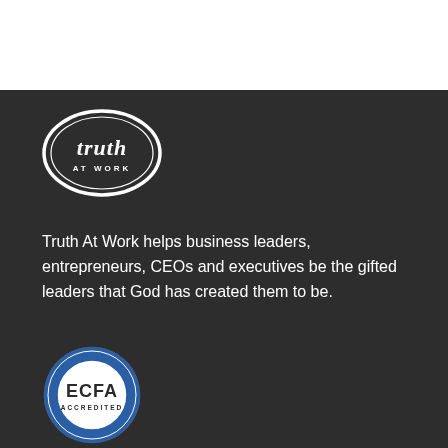[Figure (logo): Truth At Work logo — white oval outline with cursive 'truth' text and 'AT WORK' beneath, on dark background]
Truth At Work helps business leaders, entrepreneurs, CEOs and executives be the gifted leaders that God has created them to be.
[Figure (logo): ECFA Accredited seal — circular badge with blue/white sunburst design, 'ECFA' in large letters, 'ACCREDITED' below]